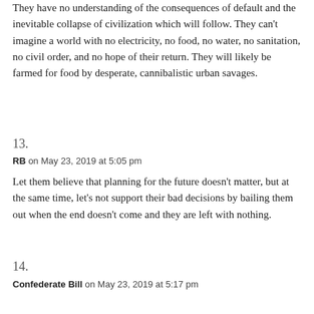They have no understanding of the consequences of default and the inevitable collapse of civilization which will follow. They can't imagine a world with no electricity, no food, no water, no sanitation, no civil order, and no hope of their return. They will likely be farmed for food by desperate, cannibalistic urban savages.
13.
RB on May 23, 2019 at 5:05 pm
Let them believe that planning for the future doesn't matter, but at the same time, let's not support their bad decisions by bailing them out when the end doesn't come and they are left with nothing.
14.
Confederate Bill on May 23, 2019 at 5:17 pm